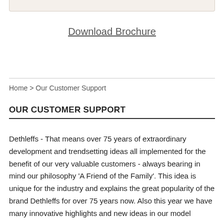[Figure (other): Top section of a box/panel with beige/cream background, partially visible at the top of the page]
Download Brochure
Home > Our Customer Support
OUR CUSTOMER SUPPORT
Dethleffs - That means over 75 years of extraordinary development and trendsetting ideas all implemented for the benefit of our very valuable customers - always bearing in mind our philosophy 'A Friend of the Family'. This idea is unique for the industry and explains the great popularity of the brand Dethleffs for over 75 years now. Also this year we have many innovative highlights and new ideas in our model